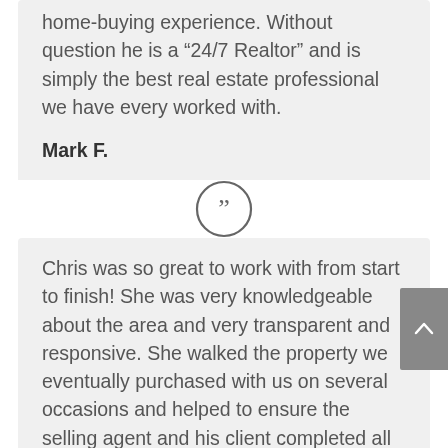home-buying experience. Without question he is a “24/7 Realtor” and is simply the best real estate professional we have every worked with.
Mark F.
[Figure (illustration): Closing double quotation mark icon inside a circle]
Chris was so great to work with from start to finish! She was very knowledgeable about the area and very transparent and responsive. She walked the property we eventually purchased with us on several occasions and helped to ensure the selling agent and his client completed all necessary